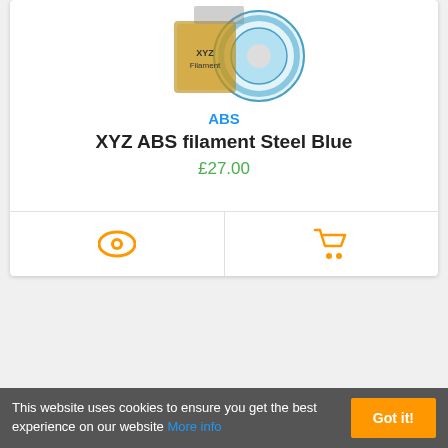[Figure (photo): XYZ ABS filament Steel Blue product image showing a blue filament spool with ABS label]
ABS
XYZ ABS filament Steel Blue
£27.00
[Figure (photo): XYZ ABS filament Red product image showing a red filament spool with XYZ branded box]
ABS
XYZ ABS filament Red
This website uses cookies to ensure you get the best experience on our website More info